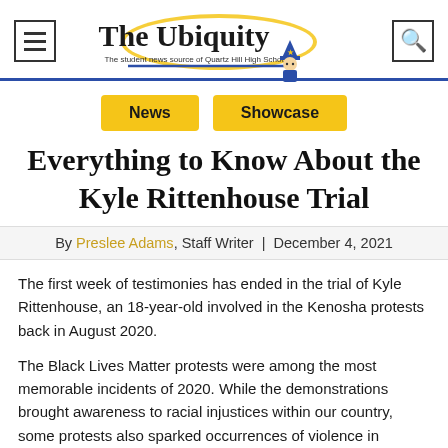The Ubiquity — The student news source of Quartz Hill High School
News | Showcase
Everything to Know About the Kyle Rittenhouse Trial
By Preslee Adams, Staff Writer | December 4, 2021
The first week of testimonies has ended in the trial of Kyle Rittenhouse, an 18-year-old involved in the Kenosha protests back in August 2020.
The Black Lives Matter protests were among the most memorable incidents of 2020. While the demonstrations brought awareness to racial injustices within our country, some protests also sparked occurrences of violence in